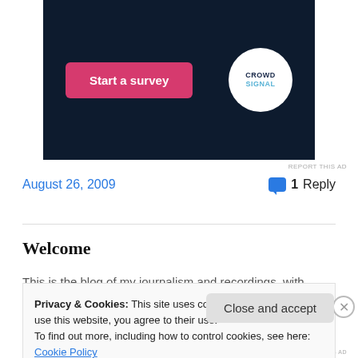[Figure (screenshot): Dark navy ad banner with a pink 'Start a survey' button on the left and a circular CrowdSignal logo on the right]
REPORT THIS AD
August 26, 2009
1 Reply
Welcome
This is the blog of my journalism and recordings, with some extracts from my books too. I tend to sound off on Northern Ireland Politics and
Privacy & Cookies: This site uses cookies. By continuing to use this website, you agree to their use.
To find out more, including how to control cookies, see here: Cookie Policy
Close and accept